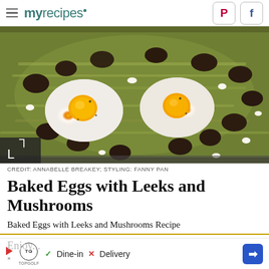myrecipes
[Figure (photo): Overhead view of a sheet pan with baked eggs, sautéed mushrooms, shredded leeks, and crumbled white cheese (feta)]
CREDIT: ANNABELLE BREAKEY; STYLING: FANNY PAN
Baked Eggs with Leeks and Mushrooms
Baked Eggs with Leeks and Mushrooms Recipe
Enjoy...